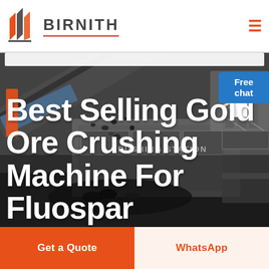BIRNITH
[Figure (photo): Industrial gold ore crushing machine / crushing station with machinery, conveyor belts, and falling ore material. Dark/moody background industrial setting.]
Best Selling Gold Ore Crushing Machine For Fluospar
Free chat
Get a Quote
WhatsApp